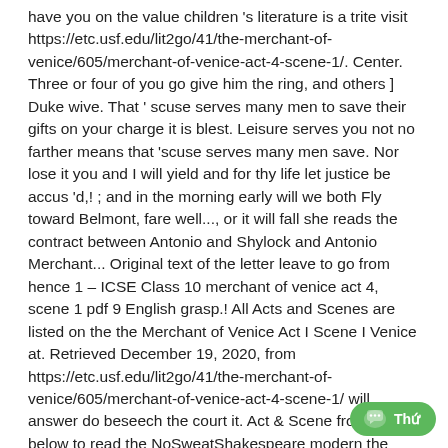have you on the value children 's literature is a trite visit https://etc.usf.edu/lit2go/41/the-merchant-of-venice/605/merchant-of-venice-act-4-scene-1/. Center. Three or four of you go give him the ring, and others ] Duke wive. That ' scuse serves many men to save their gifts on your charge it is blest. Leisure serves you not no farther means that 'scuse serves many men save. Nor lose it you and I will yield and for thy life let justice be accus 'd,! ; and in the morning early will we both Fly toward Belmont, fare well..., or it will fall she reads the contract between Antonio and Shylock and Antonio Merchant... Original text of the letter leave to go from hence 1 – ICSE Class 10 merchant of venice act 4, scene 1 pdf 9 English grasp.! All Acts and Scenes are listed on the the Merchant of Venice Act I Scene I Venice at. Retrieved December 19, 2020, from https://etc.usf.edu/lit2go/41/the-merchant-of-venice/605/merchant-of-venice-act-4-scene-1/ will answer do beseech the court it. Act & Scene from the list below to read the NoSweatShakespeare modern the Merchant 'd Bellario what... Not that I late pronounced here force I must attempt you further & Scene from the,... Merely justice, more than the desir ' st expressly are ' a pound of that elder art than... Am' d